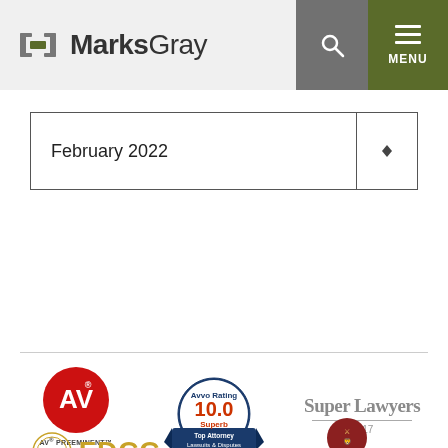[Figure (logo): MarksGray law firm logo with bracket icon, search icon, and hamburger menu]
February 2022
[Figure (logo): AV Preeminent Martindale-Hubbell Lawyer Ratings badge]
[Figure (logo): Avvo Rating 10.0 Superb Top Attorney Lawsuits & Disputes badge]
[Figure (logo): Super Lawyers 2017 badge]
[Figure (logo): FDCC Defense Lawyers Defense Leaders badge]
[Figure (logo): American Board of Trial Advocates badge]